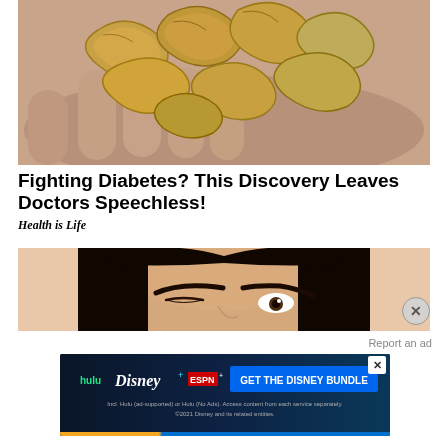[Figure (photo): Close-up photo of cashew nuts held in a human palm]
Fighting Diabetes? This Discovery Leaves Doctors Speechless!
Health is Life
[Figure (photo): Close-up photo of a woman's face with dark hair and eyebrows, winking]
Report an ad
[Figure (screenshot): Disney Bundle advertisement banner — hulu, Disney+, ESPN+ — GET THE DISNEY BUNDLE — Incl. Hulu (ad-supported) or Hulu (No Ads). Access content from each service separately. ©2021 Disney and its related entities.]